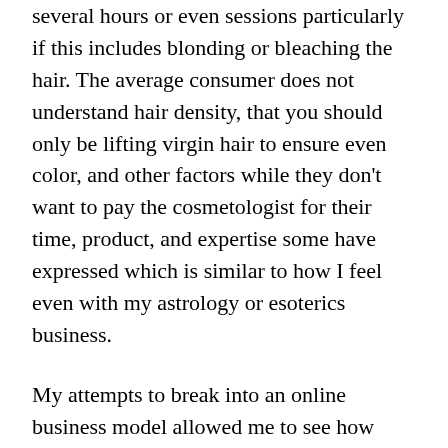several hours or even sessions particularly if this includes blonding or bleaching the hair. The average consumer does not understand hair density, that you should only be lifting virgin hair to ensure even color, and other factors while they don't want to pay the cosmetologist for their time, product, and expertise some have expressed which is similar to how I feel even with my astrology or esoterics business.
My attempts to break into an online business model allowed me to see how certain influencers or charlatans as I call them also spin a yarn for their “manifested wealth.” What I mean is that you learn just how deceptive some people really are quickly in the world.
As I don’t want to discuss a lot of personal here because my employee manual says to keep social